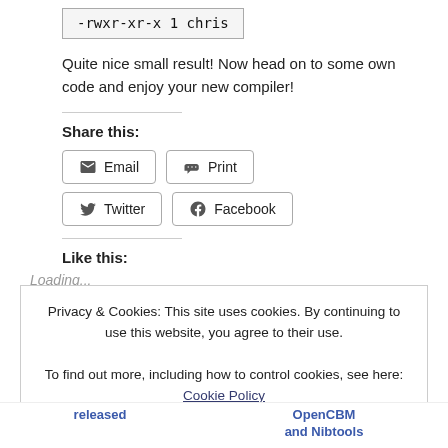-rwxr-xr-x  1 chris
Quite nice small result! Now head on to some own code and enjoy your new compiler!
Share this:
Email  Print  Twitter  Facebook
Like this:
Loading...
Privacy & Cookies: This site uses cookies. By continuing to use this website, you agree to their use.
To find out more, including how to control cookies, see here: Cookie Policy
Close and accept
released
OpenCBM and Nibtools